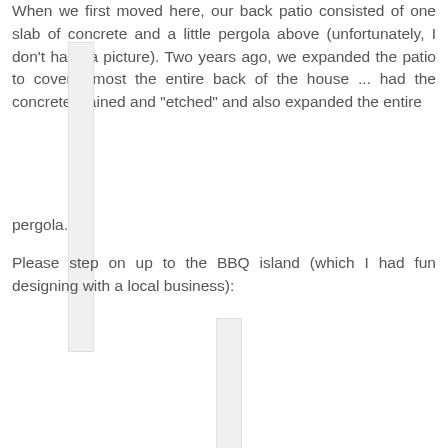When we first moved here, our back patio consisted of one slab of concrete and a little pergola above (unfortunately, I don't have a picture). Two years ago, we expanded the patio to cover almost the entire back of the house ... had the concrete stained and "etched" and also expanded the entire pergola.
[Figure (photo): Partially visible photo placeholder (narrow vertical strip visible)]
Please step on up to the BBQ island (which I had fun designing with a local business):
[Figure (photo): Partially visible photo placeholder (narrow vertical strip visible at bottom of page)]